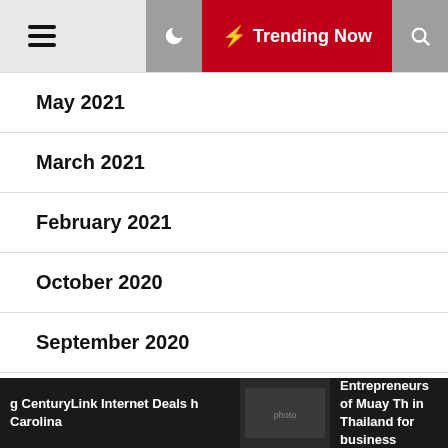Trending Now
May 2021
March 2021
February 2021
October 2020
September 2020
August 2020
July 2020
g CenturyLink Internet Deals h Carolina | Entrepreneurs of Muay Th in Thailand for business